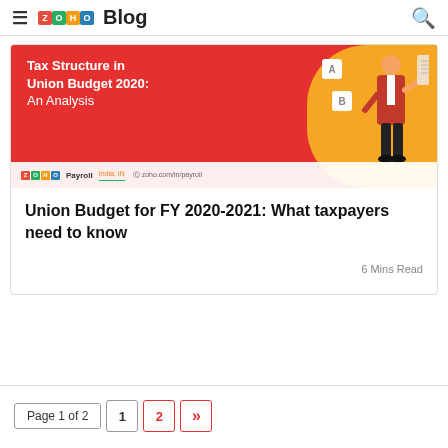ZOHO Blog
[Figure (illustration): Zoho Payroll promotional banner showing 'Tax Structure in Union Budget 2020: An Analysis' with an illustrated person in a red jacket standing in front of option bubbles labeled A and B, on a red and yellow background. Bottom strip shows Zoho Payroll logo and zoho.com/in/payroll URL.]
Union Budget for FY 2020-2021: What taxpayers need to know
6 Mins Read
Page 1 of 2  1  2  »